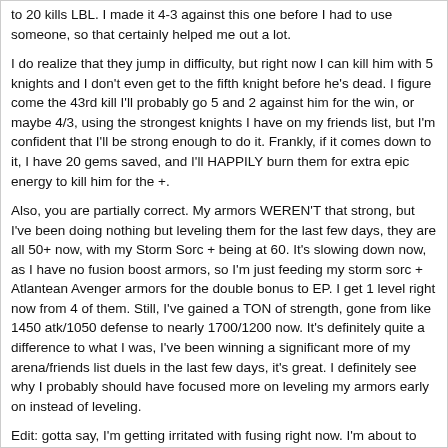to 20 kills LBL. I made it 4-3 against this one before I had to use someone, so that certainly helped me out a lot.
I do realize that they jump in difficulty, but right now I can kill him with 5 knights and I don't even get to the fifth knight before he's dead. I figure come the 43rd kill I'll probably go 5 and 2 against him for the win, or maybe 4/3, using the strongest knights I have on my friends list, but I'm confident that I'll be strong enough to do it. Frankly, if it comes down to it, I have 20 gems saved, and I'll HAPPILY burn them for extra epic energy to kill him for the +.
Also, you are partially correct. My armors WEREN'T that strong, but I've been doing nothing but leveling them for the last few days, they are all 50+ now, with my Storm Sorc + being at 60. It's slowing down now, as I have no fusion boost armors, so I'm just feeding my storm sorc + Atlantean Avenger armors for the double bonus to EP. I get 1 level right now from 4 of them. Still, I've gained a TON of strength, gone from like 1450 atk/1050 defense to nearly 1700/1200 now. It's definitely quite a difference to what I was, I've been winning a significant more of my arena/friends list duels in the last few days, it's great. I definitely see why I probably should have focused more on leveling my armors early on instead of leveling.
Edit: gotta say, I'm getting irritated with fusing right now. I'm about to attempt my fifth fusion of Infernal Lord and Rocfeather robes, and every time it's been 2 star(3 embersteel and 1 flowstone). Hopefully I'll finally get lucky on this last attempt and snag a combustion finally.
Oh, one other question: If I don't have to burn any gems for the 43rd kill(I don't think I'll have to), would it be smarter to save them and use them on a chance chest in the future, or should I save until I have enough to kill Beringar in the Summoning stone 4 times, because then I could craft the + version of his armor, which with the current boss, would give me two + version of boss armors.
Uh, actually you don't get any extra EP from enhancing your storm sorcerer with atlantean avenger armors. As long as there's one matching element, you get the extra EP, having two makes no difference.
Also, I wouldn't actually consider Your armors being strong yet. Considering